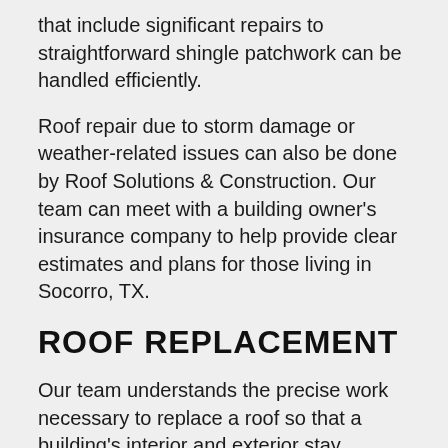that include significant repairs to straightforward shingle patchwork can be handled efficiently.
Roof repair due to storm damage or weather-related issues can also be done by Roof Solutions & Construction. Our team can meet with a building owner's insurance company to help provide clear estimates and plans for those living in Socorro, TX.
ROOF REPLACEMENT
Our team understands the precise work necessary to replace a roof so that a building's interior and exterior stay protected. Customers can feel good in knowing our roofing company has the ability to provide high-quality roof replacement services for many types of roofs. Feel better knowing that the work is performed by a trusted company that